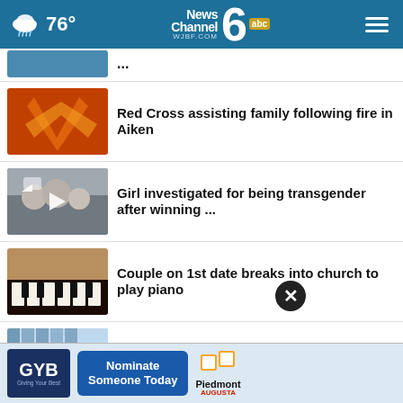News Channel 6 WJBF.COM abc — 76°
[partial headline cut off at top]
Red Cross assisting family following fire in Aiken
Girl investigated for being transgender after winning ...
Couple on 1st date breaks into church to play piano
Flying soon? Here's where airfare has become more ...
Monkeypox disproportionately affecting people of ...
Michigan loses [partial, cut off]
[Figure (screenshot): Advertisement bar: GYB Giving Your Best logo, Nominate Someone Today button, Piedmont Augusta logo]